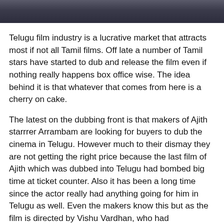[Figure (photo): Partial view of people in a photograph, cropped to show only the top portion of faces/upper body]
Telugu film industry is a lucrative market that attracts most if not all Tamil films. Off late a number of Tamil stars have started to dub and release the film even if nothing really happens box office wise. The idea behind it is that whatever that comes from here is a cherry on cake.
The latest on the dubbing front is that makers of Ajith starrrer Arrambam are looking for buyers to dub the cinema in Telugu. However much to their dismay they are not getting the right price because the last film of Ajith which was dubbed into Telugu had bombed big time at ticket counter. Also it has been a long time since the actor really had anything going for him in Telugu as well. Even the makers know this but as the film is directed by Vishu Vardhan, who had